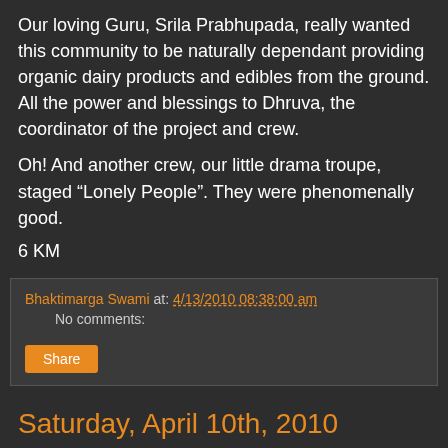Our loving Guru, Srila Prabhupada, really wanted this community to be naturally dependant providing organic dairy products and edibles from the ground. All the power and blessings to Dhruva, the coordinator of the project and crew.
Oh! And another crew, our little drama troupe, staged “Lonely People”. They were phenomenally good.
6 KM
Bhaktimarga Swami at: 4/13/2010 08:38:00 am   No comments:
Share
Saturday, April 10th, 2010
Part Two: More Gurus
Port Royal, Pennsylvania